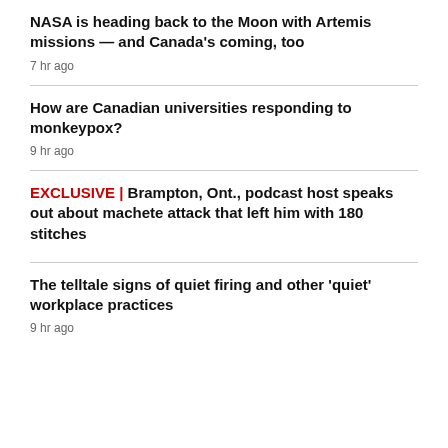NASA is heading back to the Moon with Artemis missions — and Canada's coming, too
7 hr ago
How are Canadian universities responding to monkeypox?
9 hr ago
EXCLUSIVE | Brampton, Ont., podcast host speaks out about machete attack that left him with 180 stitches
The telltale signs of quiet firing and other 'quiet' workplace practices
9 hr ago